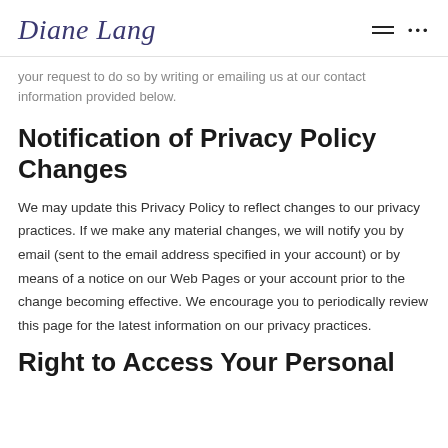Diane Lang
your request to do so by writing or emailing us at our contact information provided below.
Notification of Privacy Policy Changes
We may update this Privacy Policy to reflect changes to our privacy practices. If we make any material changes, we will notify you by email (sent to the email address specified in your account) or by means of a notice on our Web Pages or your account prior to the change becoming effective. We encourage you to periodically review this page for the latest information on our privacy practices.
Right to Access Your Personal